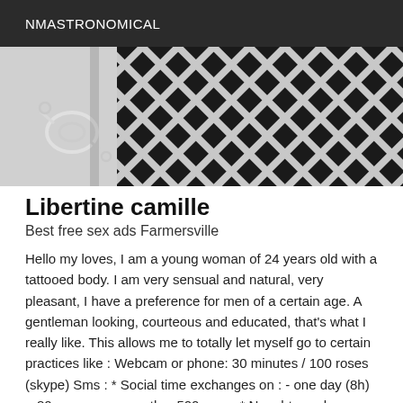NMASTRONOMICAL
[Figure (photo): Black and white close-up photograph of a mesh or net fabric with diamond-shaped holes, with what appears to be a metal clasp or clip in the lower left portion of the image.]
Libertine camille
Best free sex ads Farmersville
Hello my loves, I am a young woman of 24 years old with a tattooed body. I am very sensual and natural, very pleasant, I have a preference for men of a certain age. A gentleman looking, courteous and educated, that's what I really like. This allows me to totally let myself go to certain practices like : Webcam or phone: 30 minutes / 100 roses (skype) Sms : * Social time exchanges on : - one day (8h) = 80 roses - per month = 500 roses * Naughty exchanges on : - one hour = 50 roses - one day